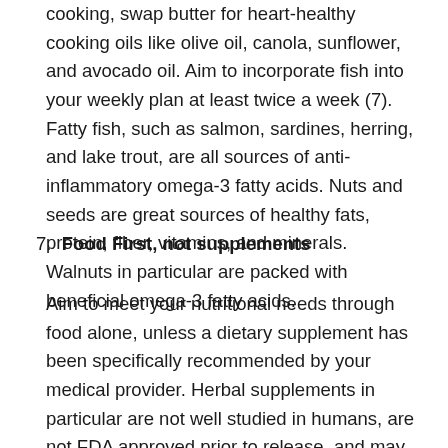cooking, swap butter for heart-healthy cooking oils like olive oil, canola, sunflower, and avocado oil. Aim to incorporate fish into your weekly plan at least twice a week (7). Fatty fish, such as salmon, sardines, herring, and lake trout, are all sources of anti-inflammatory omega-3 fatty acids. Nuts and seeds are great sources of healthy fats, protein, fiber, vitamins, and minerals. Walnuts in particular are packed with beneficial omega-3 fatty acids.
7. Food First, not supplements
Aim to meet your nutritional needs through food alone, unless a dietary supplement has been specifically recommended by your medical provider. Herbal supplements in particular are not well studied in humans, are not FDA approved prior to release, and may interact with the efficacy of various medications (8). Additionally, high dose antioxidant supplements may actually do more harm than good, as seen